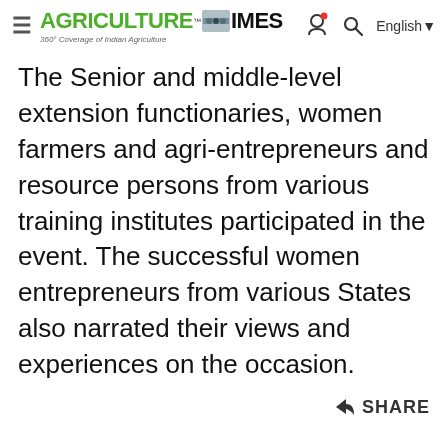Agriculture Times — 360° Coverage of Indian Agriculture | English
The Senior and middle-level extension functionaries, women farmers and agri-entrepreneurs and resource persons from various training institutes participated in the event. The successful women entrepreneurs from various States also narrated their views and experiences on the occasion.